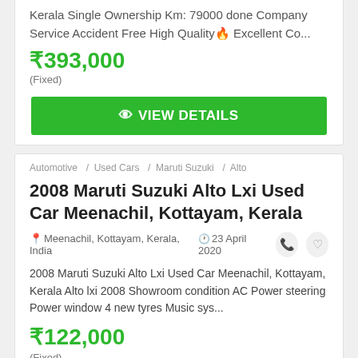Kerala Single Ownership Km: 79000 done Company Service Accident Free High Quality Excellent Co...
₹393,000
(Fixed)
VIEW DETAILS
Automotive / Used Cars / Maruti Suzuki / Alto
2008 Maruti Suzuki Alto Lxi Used Car Meenachil, Kottayam, Kerala
Meenachil, Kottayam, Kerala, India  23 April 2020
2008 Maruti Suzuki Alto Lxi Used Car Meenachil, Kottayam, Kerala Alto lxi 2008 Showroom condition AC Power steering Power window 4 new tyres Music sys...
₹122,000
(Fixed)